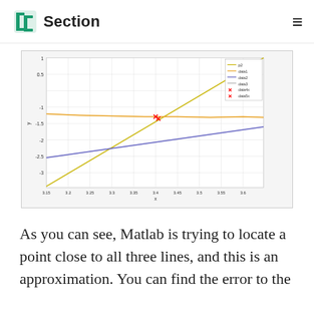Section
[Figure (line-chart): MATLAB plot showing three lines and two marked points over x-range approximately 3.15 to 3.6. A diagonal yellow-green line rises steeply from bottom-left to top-right. A nearly flat orange/yellow line runs at y≈-1.2. A slowly rising purple/blue line runs at y≈-2 rising to y≈-1.5. Two red cross markers appear near x=3.4, y≈-1.25. Legend shows p2, data1, data2, data3, data4x, data5x. Y-axis labels: 0, 0.5, 1, -1, -1.5, -2, -2.5, -3. X-axis labels: 3.15, 3.2, 3.25, 3.3, 3.35, 3.4, 3.45, 3.5, 3.55, 3.6 with x label below.]
As you can see, Matlab is trying to locate a point close to all three lines, and this is an approximation. You can find the error to the